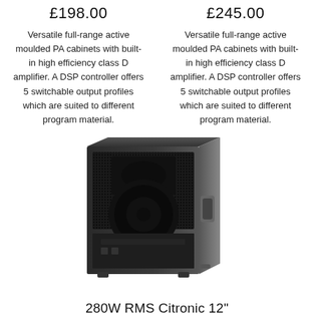£198.00
£245.00
Versatile full-range active moulded PA cabinets with built-in high efficiency class D amplifier. A DSP controller offers 5 switchable output profiles which are suited to different program material.
Versatile full-range active moulded PA cabinets with built-in high efficiency class D amplifier. A DSP controller offers 5 switchable output profiles which are suited to different program material.
[Figure (photo): 280W RMS Citronic 12 inch CASA Active PA cabinet speaker, black moulded enclosure with grille, viewed at slight angle]
280W RMS Citronic 12" CASA Active PA Cabinets